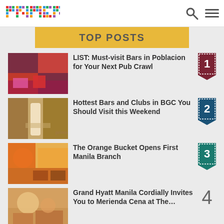primer
TOP POSTS
LIST: Must-visit Bars in Poblacion for Your Next Pub Crawl
Hottest Bars and Clubs in BGC You Should Visit this Weekend
The Orange Bucket Opens First Manila Branch
Grand Hyatt Manila Cordially Invites You to Merienda Cena at The…